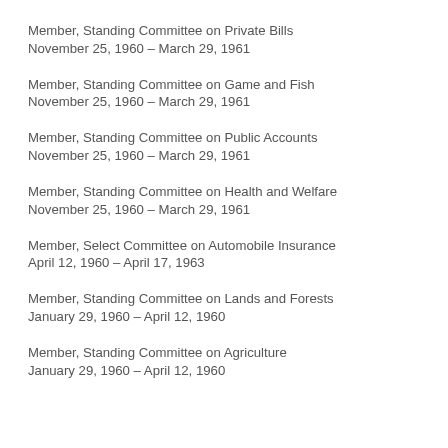Member, Standing Committee on Private Bills
November 25, 1960 – March 29, 1961
Member, Standing Committee on Game and Fish
November 25, 1960 – March 29, 1961
Member, Standing Committee on Public Accounts
November 25, 1960 – March 29, 1961
Member, Standing Committee on Health and Welfare
November 25, 1960 – March 29, 1961
Member, Select Committee on Automobile Insurance
April 12, 1960 – April 17, 1963
Member, Standing Committee on Lands and Forests
January 29, 1960 – April 12, 1960
Member, Standing Committee on Agriculture
January 29, 1960 – April 12, 1960